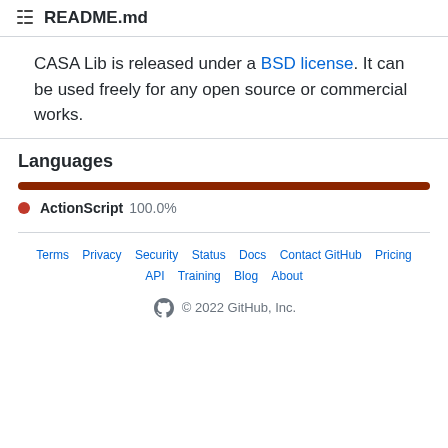README.md
CASA Lib is released under a BSD license. It can be used freely for any open source or commercial works.
Languages
[Figure (bar-chart): Languages]
ActionScript 100.0%
Terms  Privacy  Security  Status  Docs  Contact GitHub  Pricing  API  Training  Blog  About  © 2022 GitHub, Inc.